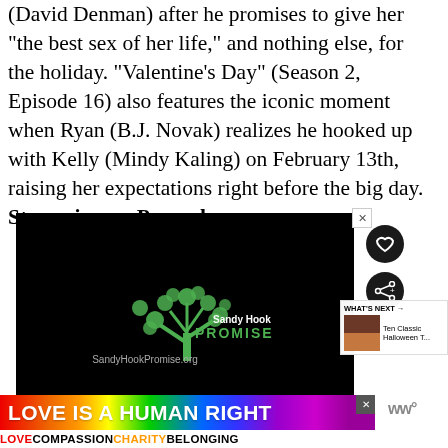(David Denman) after he promises to give her "the best sex of her life," and nothing else, for the holiday. "Valentine's Day" (Season 2, Episode 16) also features the iconic moment when Ryan (B.J. Novak) realizes he hooked up with Kelly (Mindy Kaling) on February 13th, raising her expectations right before the big day. Streaming on Peacock
[Figure (screenshot): Sandy Hook Promise advertisement on black background with green tree logo made of handprints, text 'Sandy Hook PROMISE' and website 'SandyHookPromise.org']
[Figure (screenshot): 'WHAT'S NEXT' panel showing thumbnail and text 'Ten Classic Halloween T...']
[Figure (screenshot): Rainbow banner advertisement reading 'LOVE IS A HUMAN RIGHT' with sub-text 'LOVE COMPASSION CHARITY BELONGING']